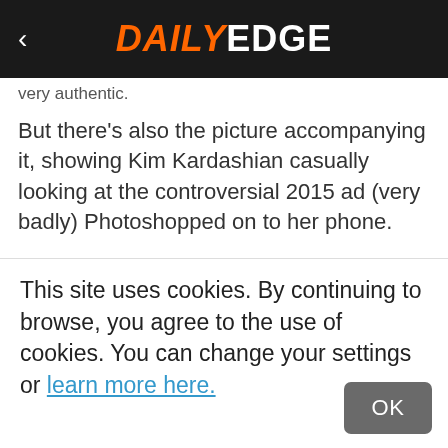DAILY EDGE
very authentic.
But there's also the picture accompanying it, showing Kim Kardashian casually looking at the controversial 2015 ad (very badly) Photoshopped on to her phone.
[Figure (photo): Close-up photo of a dark-haired woman (Kim Kardashian) with eyes visible, looking sideways, against a grey background.]
This site uses cookies. By continuing to browse, you agree to the use of cookies. You can change your settings or learn more here.